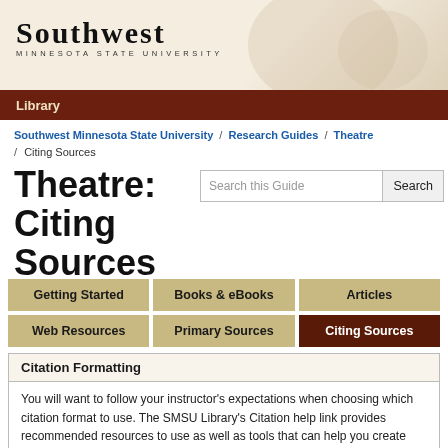[Figure (logo): Southwest Minnesota State University logo with 'SOUTHWEST' text and subtitle 'MINNESOTA STATE UNIVERSITY']
Library
Southwest Minnesota State University / Research Guides / Theatre / Citing Sources
Theatre: Citing Sources
Search this Guide [Search button]
Getting Started
Books & eBooks
Articles
Web Resources
Primary Sources
Citing Sources
Citation Formatting
You will want to follow your instructor's expectations when choosing which citation format to use. The SMSU Library's Citation help link provides recommended resources to use as well as tools that can help you create citations.
Citation Guides